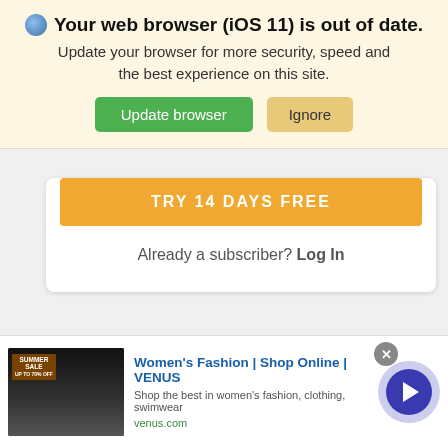🌐 Your web browser (iOS 11) is out of date. Update your browser for more security, speed and the best experience on this site.
[Figure (screenshot): Update browser / Ignore buttons]
[Figure (screenshot): TRY 14 DAYS FREE orange button (partially visible)]
Already a subscriber? Log In
Recommended for You
[Photos] At 75, Brian May lives so luxuriously
[Figure (photo): Thumbnail image of elderly person with white hair]
[Figure (screenshot): Ad banner: Women's Fashion | Shop Online | VENUS. Shop the best in women's fashion, clothing, swimwear. venus.com]